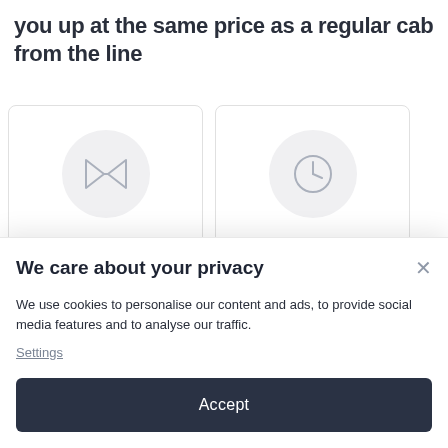you up at the same price as a regular cab from the line
[Figure (illustration): Two feature cards side by side: left card shows a bow-tie icon in a grey circle with label 'Best drivers', right card shows a clock icon in a grey circle with label 'Flight monitoring']
We care about your privacy
We use cookies to personalise our content and ads, to provide social media features and to analyse our traffic.
Settings
Accept